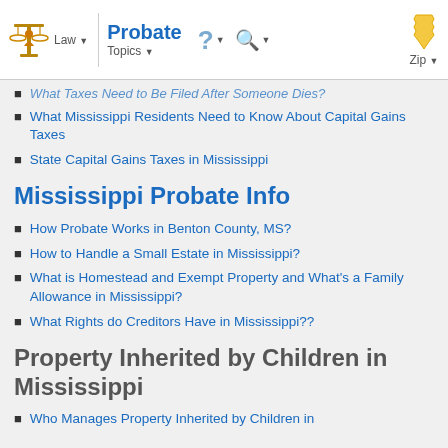Probate Law Topics ? Search Zip
What Mississippi Residents Need to Know About Capital Gains Taxes
State Capital Gains Taxes in Mississippi
Mississippi Probate Info
How Probate Works in Benton County, MS?
How to Handle a Small Estate in Mississippi?
What is Homestead and Exempt Property and What's a Family Allowance in Mississippi?
What Rights do Creditors Have in Mississippi??
Property Inherited by Children in Mississippi
Who Manages Property Inherited by Children in